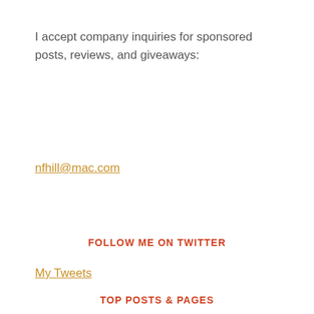I accept company inquiries for sponsored posts, reviews, and giveaways:
nfhill@mac.com
FOLLOW ME ON TWITTER
My Tweets
TOP POSTS & PAGES